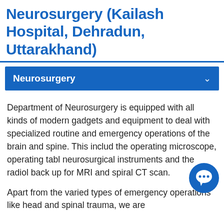Neurosurgery (Kailash Hospital, Dehradun, Uttarakhand)
Neurosurgery
Department of Neurosurgery is equipped with all kinds of modern gadgets and equipment to deal with specialized routine and emergency operations of the brain and spine. This includ the operating microscope, operating tabl neurosurgical instruments and the radiol back up for MRI and spiral CT scan.
Apart from the varied types of emergency operations like head and spinal trauma, we are
[Figure (illustration): Blue circular chat/messaging button with three dots icon, overlapping the body text on the right side]